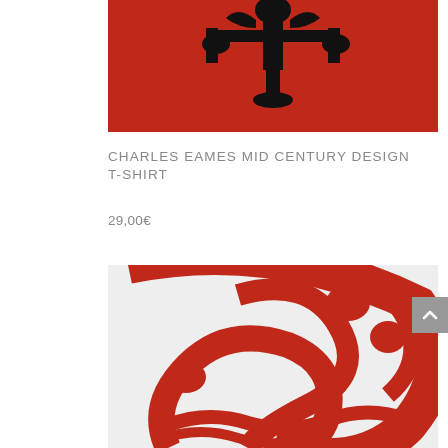[Figure (photo): Product image of a Charles Eames Mid Century Design T-shirt, showing a red background with a black silhouette figure, cropped at the top portion of the image.]
CHARLES EAMES MID CENTURY DESIGN T-SHIRT
29,00€
[Figure (photo): Close-up of a T-shirt showing a red and white abstract swirling design on a light grey/white fabric background, resembling curved organic shapes reminiscent of the Eames style.]